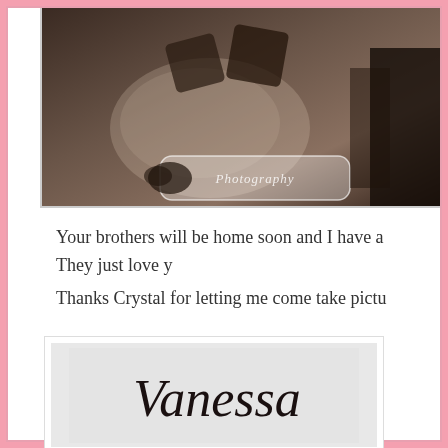[Figure (photo): Sepia-toned newborn photography with watermark/logo overlay, showing baby with dark heart decorations and fuzzy textures]
Your brothers will be home soon and I have a
They just love y
Thanks Crystal for letting me come take pictu
[Figure (illustration): Handwritten cursive signature reading 'Vanessa' on a light grey background within a white bordered box]
at March 10, 2015   No comments:
Labels: Newborns, Photography